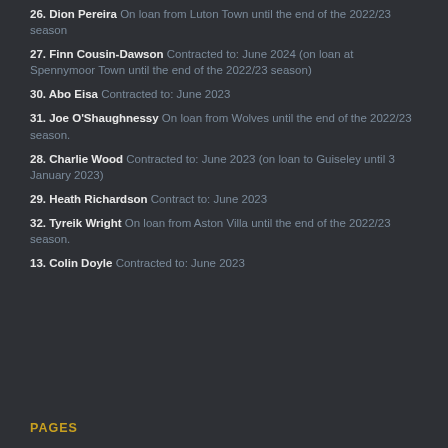26. Dion Pereira On loan from Luton Town until the end of the 2022/23 season
27. Finn Cousin-Dawson Contracted to: June 2024 (on loan at Spennymoor Town until the end of the 2022/23 season)
30. Abo Eisa Contracted to: June 2023
31. Joe O'Shaughnessy On loan from Wolves until the end of the 2022/23 season.
28. Charlie Wood Contracted to: June 2023 (on loan to Guiseley until 3 January 2023)
29. Heath Richardson Contract to: June 2023
32. Tyreik Wright On loan from Aston Villa until the end of the 2022/23 season.
13. Colin Doyle Contracted to: June 2023
PAGES